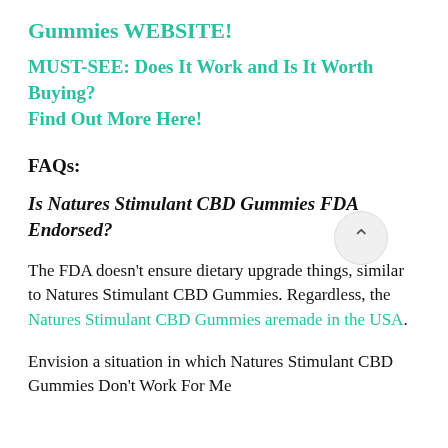Gummies WEBSITE!
MUST-SEE: Does It Work and Is It Worth Buying? Find Out More Here!
FAQs:
Is Natures Stimulant CBD Gummies FDA Endorsed?
The FDA doesn't ensure dietary upgrade things, similar to Natures Stimulant CBD Gummies. Regardless, the Natures Stimulant CBD Gummies aremade in the USA.
Envision a situation in which Natures Stimulant CBD Gummies Don't Work For Me